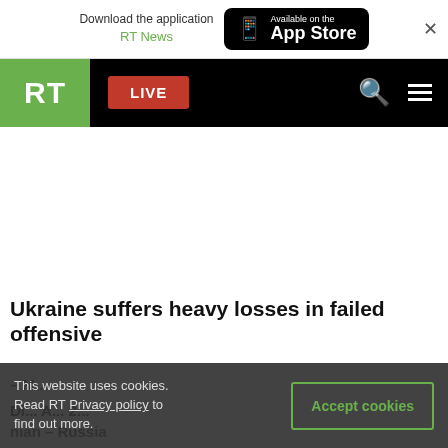Download the application RT News — Available on the App Store
[Figure (screenshot): RT website navigation bar with RT logo (green), LIVE button (red), search icon, and hamburger menu icon on black background]
Ukraine suffers heavy losses in failed offensive
This website uses cookies. Read RT Privacy policy to find out more.
Accept cookies